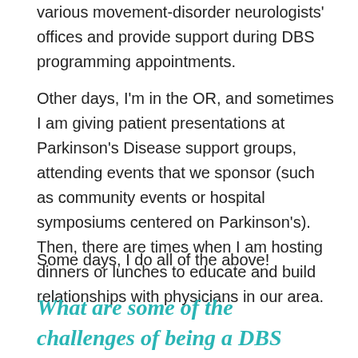various movement-disorder neurologists' offices and provide support during DBS programming appointments.
Other days, I'm in the OR, and sometimes I am giving patient presentations at Parkinson's Disease support groups, attending events that we sponsor (such as community events or hospital symposiums centered on Parkinson's). Then, there are times when I am hosting dinners or lunches to educate and build relationships with physicians in our area.
Some days, I do all of the above!
What are some of the challenges of being a DBS Clinical Specialist? What